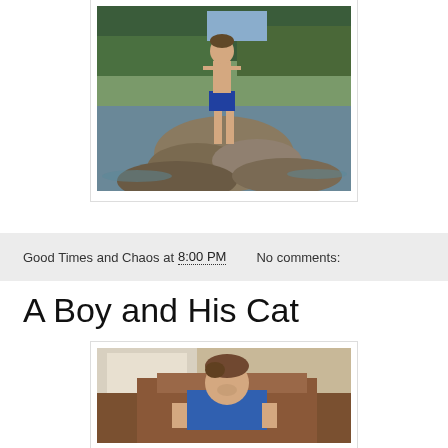[Figure (photo): A child standing on rocks beside a river or lake, wearing blue swim trunks, with trees and water in the background.]
Good Times and Chaos at 8:00 PM    No comments:
A Boy and His Cat
[Figure (photo): A boy sitting in a brown chair or couch, wearing a blue shirt, looking down, indoors.]